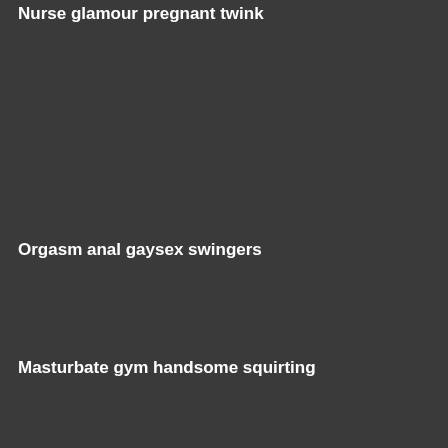Nurse glamour pregnant twink
Orgasm anal gaysex swingers
Masturbate gym handsome squirting